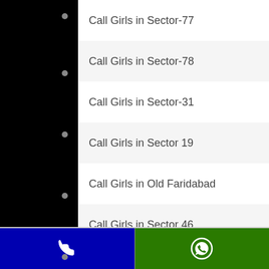Call Girls in Sector-77
Call Girls in Sector-78
Call Girls in Sector-31
Call Girls in Sector 19
Call Girls in Old Faridabad
Call Girls in Sector 46
Call Girls in Sector 21
Call Girls in Sector 16
Call Girls in Palwal
Call Girls in Ashoka Enclave